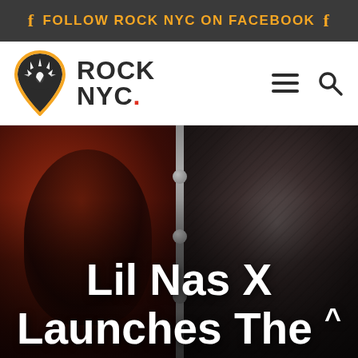f FOLLOW ROCK NYC ON FACEBOOK f
[Figure (logo): Rock NYC logo: guitar pick shaped icon with sun rays design, orange/red/black colors, next to bold text 'ROCK NYC.' with a red dot]
[Figure (photo): Split hero image: left side shows a person against a red background, right side shows a dark textured figure/creature. A vertical metal strip with studs/rivets divides the two halves.]
Lil Nas X Launches The ^